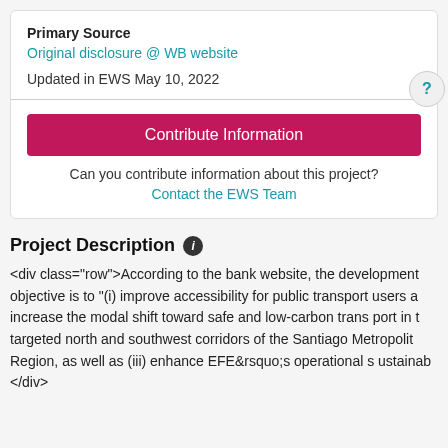Primary Source
Original disclosure @ WB website
Updated in EWS May 10, 2022
Contribute Information
Can you contribute information about this project?
Contact the EWS Team
Project Description
<div class="row">According to the bank website, the development objective is to "(i) improve accessibility for public transport users a increase the modal shift toward safe and low-carbon trans port in t targeted north and southwest corridors of the Santiago Metropolit Region, as well as (iii) enhance EFE&rsquo;s operational s ustainab </div>